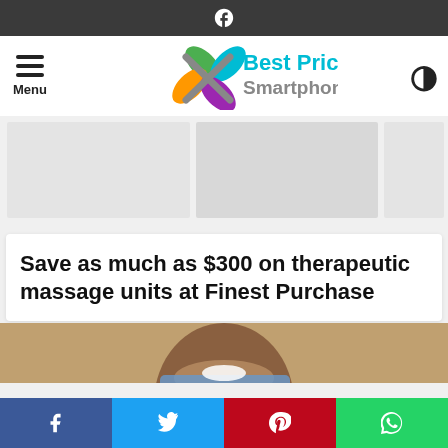Facebook icon top bar
[Figure (logo): Best Price Smartphone logo with colorful X icon and teal/blue text]
[Figure (other): Three gray advertisement placeholder slots in a row]
Save as much as $300 on therapeutic massage units at Finest Purchase
[Figure (photo): Photo of a smiling man, partially visible]
Social share bar: Facebook, Twitter, Pinterest, WhatsApp